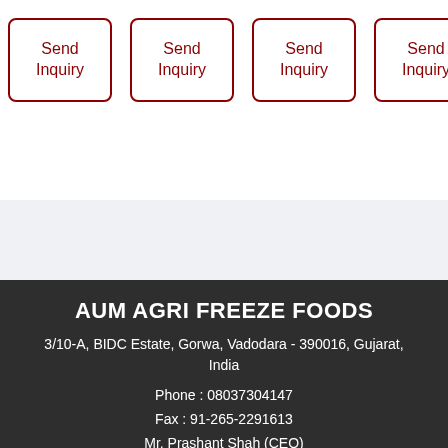[Figure (other): Four 'Send Inquiry' buttons in a row with dark red borders and text]
AUM AGRI FREEZE FOODS
3/10-A, BIDC Estate, Gorwa, Vadodara - 390016, Gujarat, India
Phone : 08037304147
Fax : 91-265-2291613
Mr. Prashant Shah (CEO)
Mobile : 09727216224, 09227204147